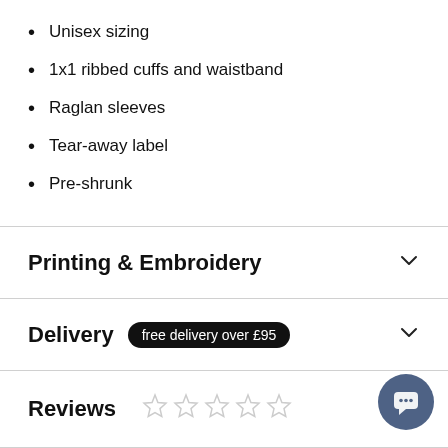Unisex sizing
1x1 ribbed cuffs and waistband
Raglan sleeves
Tear-away label
Pre-shrunk
Printing & Embroidery
Delivery  free delivery over £95
Reviews